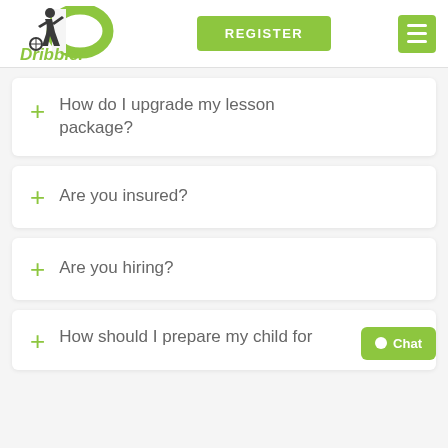[Figure (logo): Dribbler logo: soccer player silhouette with green D shape and 'Dribbler' text in green]
REGISTER
+ How do I upgrade my lesson package?
+ Are you insured?
+ Are you hiring?
+ How should I prepare my child for
Chat